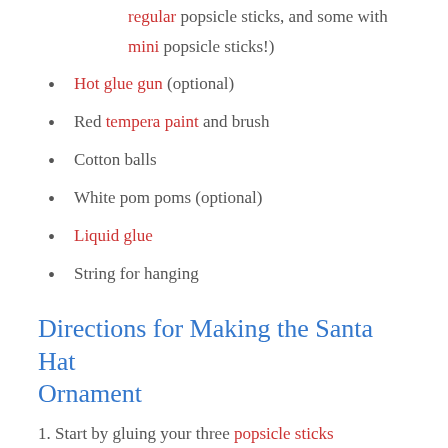regular popsicle sticks, and some with mini popsicle sticks!)
Hot glue gun (optional)
Red tempera paint and brush
Cotton balls
White pom poms (optional)
Liquid glue
String for hanging
Directions for Making the Santa Hat Ornament
1. Start by gluing your three popsicle sticks together to form a triangle. (I used a hot glue gun so it would dry quickly.)